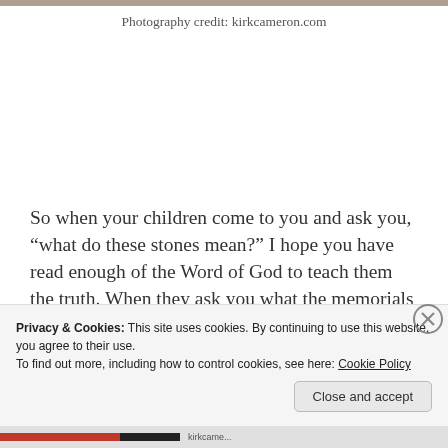Photography credit: kirkcameron.com
So when your children come to you and ask you, “what do these stones mean?” I hope you have read enough of the Word of God to teach them the truth. When they ask you what the memorials mean in your capital and in your town, I hope you know enough to tell them the
Privacy & Cookies: This site uses cookies. By continuing to use this website, you agree to their use.
To find out more, including how to control cookies, see here: Cookie Policy
Close and accept